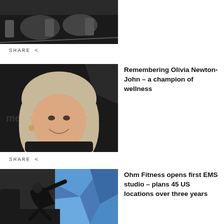[Figure (photo): Top portion of a photo showing people on exercise bikes, partially cropped at the top of the page]
SHARE
[Figure (photo): Portrait photo of Olivia Newton-John smiling, with blonde wavy hair, against a dark background with a decorative element]
Remembering Olivia Newton-John – a champion of wellness
SHARE
[Figure (photo): Photo of a person in black athletic wear doing a fitness exercise on the floor at an Ohm Fitness EMS studio with geometric blue background]
Ohm Fitness opens first EMS studio – plans 45 US locations over three years